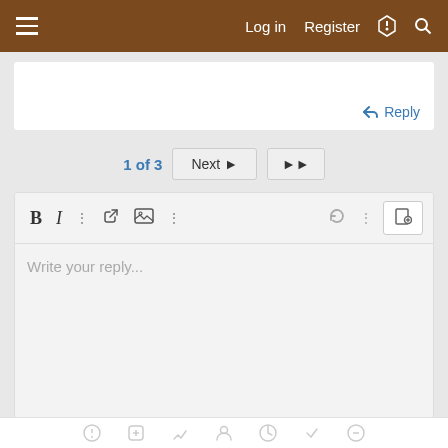Log in  Register
Reply
1 of 3  Next ▶  ▶▶
[Figure (screenshot): Text editor toolbar with Bold, Italic, more options, link, image, more options, undo, more options, and attach buttons]
Write your reply...
0 Words
Post reply